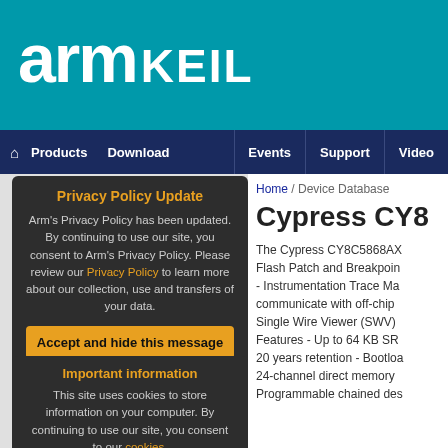[Figure (logo): Arm Keil logo on teal background with white text 'arm KEIL']
Products   Download   Events   Support   Video
Home / Device Database
Cypress CY8...
The Cypress CY8C5868AX... Flash Patch and Breakpoint... - Instrumentation Trace Ma... communicate with off-chip ... Single Wire Viewer (SWV)... Features - Up to 64 KB SR... 20 years retention - Bootloa... 24-channel direct memory ... Programmable chained des...
Privacy Policy Update
Arm's Privacy Policy has been updated. By continuing to use our site, you consent to Arm's Privacy Policy. Please review our Privacy Policy to learn more about our collection, use and transfers of your data.
[Accept and hide this message]
Important information
This site uses cookies to store information on your computer. By continuing to use our site, you consent to our cookies.
[Don't show this message again]
Change Settings